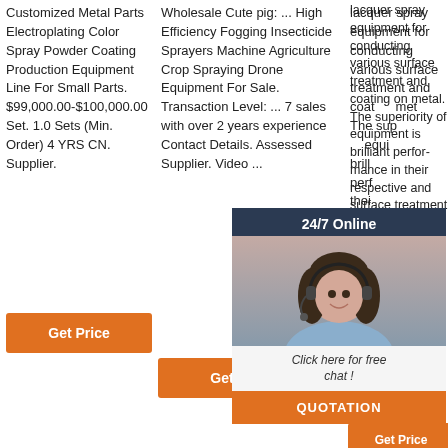Customized Metal Parts Electroplating Color Spray Powder Coating Production Equipment Line For Small Parts. $99,000.00-$100,000.00 Set. 1.0 Sets (Min. Order) 4 YRS CN. Supplier.
Get Price
Wholesale Cute pig: ... High Efficiency Fogging Insecticide Sprayers Machine Agriculture Crop Spraying Drone Equipment For Sale. Transaction Level: ... 7 sales with over 2 years experience Contact Details. Assessed Supplier. Video ...
Get Price
lacquer spray equipment for conducting various surface treatment and coating on metal. The superiority of equipment is brilliant performance in their respective and surface treatment improvising the latest spraying ...
[Figure (photo): Customer service representative with headset, overlaid on dark blue chat widget with 24/7 Online header, Click here for free chat bubble, and QUOTATION orange button]
[Figure (other): TOP icon with orange dots above orange TOP text]
Get Price